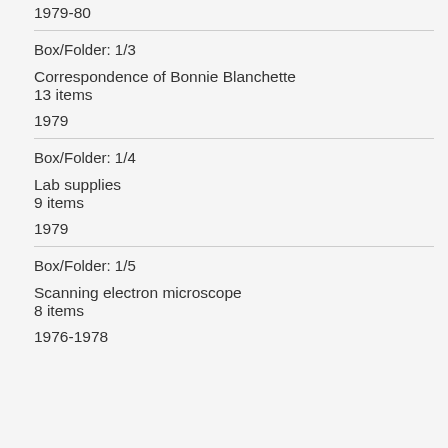1979-80
Box/Folder: 1/3
Correspondence of Bonnie Blanchette
13 items
1979
Box/Folder: 1/4
Lab supplies
9 items
1979
Box/Folder: 1/5
Scanning electron microscope
8 items
1976-1978